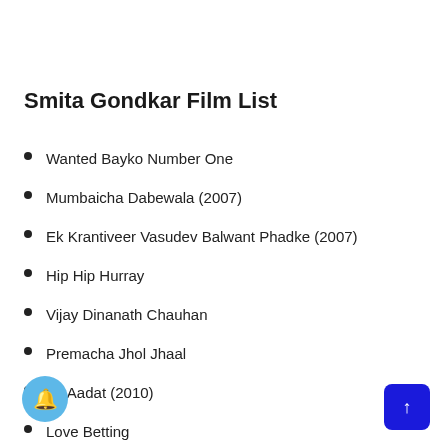Smita Gondkar Film List
Wanted Bayko Number One
Mumbaicha Dabewala (2007)
Ek Krantiveer Vasudev Balwant Phadke (2007)
Hip Hip Hurray
Vijay Dinanath Chauhan
Premacha Jhol Jhaal
Ek Aadat (2010)
Love Betting
Ashi Fasali Nanachi Tang (2011)